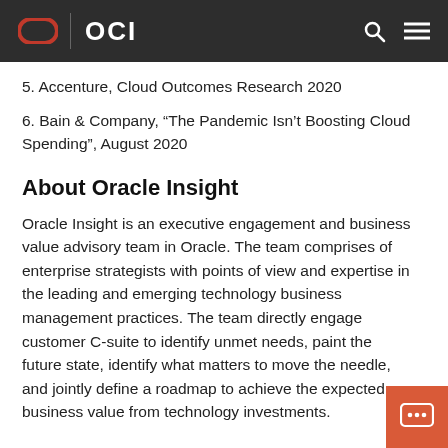OCI
5. Accenture, Cloud Outcomes Research 2020
6. Bain & Company, “The Pandemic Isn’t Boosting Cloud Spending”, August 2020
About Oracle Insight
Oracle Insight is an executive engagement and business value advisory team in Oracle. The team comprises of enterprise strategists with points of view and expertise in the leading and emerging technology business management practices. The team directly engage customer C-suite to identify unmet needs, paint the future state, identify what matters to move the needle, and jointly define a roadmap to achieve the expected business value from technology investments.